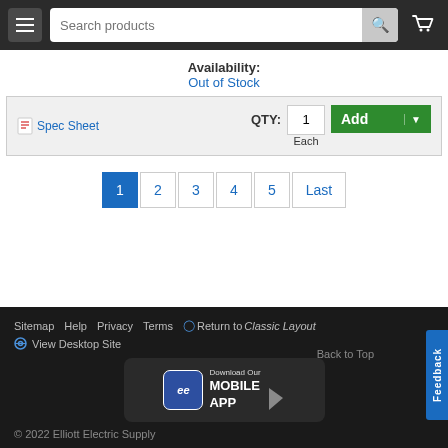Search products
Availability: Out of Stock
Spec Sheet   QTY: 1   Each   Add
1  2  3  4  5  Last
Sitemap  Help  Privacy  Terms  Return to Classic Layout  View Desktop Site  Back to Top  Download Our MOBILE APP  © 2022 Elliott Electric Supply